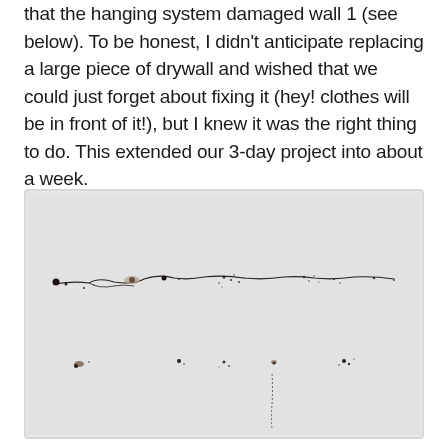that the hanging system damaged wall 1 (see below). To be honest, I didn't anticipate replacing a large piece of drywall and wished that we could just forget about fixing it (hey! clothes will be in front of it!), but I knew it was the right thing to do. This extended our 3-day project into about a week.
[Figure (photo): Photo of a white wall showing damage from a hanging system: a horizontal crack/tear running across the upper middle portion of the wall, with multiple small holes and screw punctures scattered across two rows. The wall surface is light gray-white.]